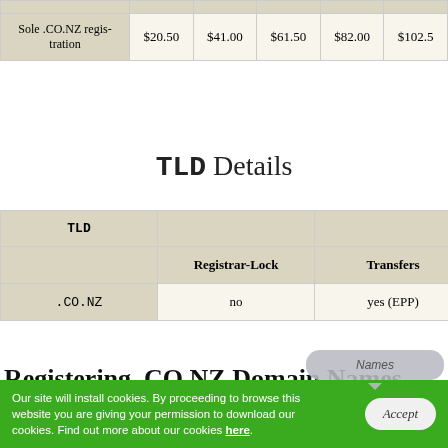|  | 1 Year | 2 Years | 3 Years | 4 Years | 5 Years |
| --- | --- | --- | --- | --- | --- |
| Sole .CO.NZ registration | $20.50 | $41.00 | $61.50 | $82.00 | $102.5 |
TLD Details
| TLD | Registrar-Lock | Transfers | Edit WHOIS | I... |
| --- | --- | --- | --- | --- |
| .CO.NZ | no | yes (EPP) | yes |  |
Registering .CO.NZ Domain Names
Our site will install cookies. By proceeding to browse this website you are giving your permission to download our cookies. Find out more about our cookies here.